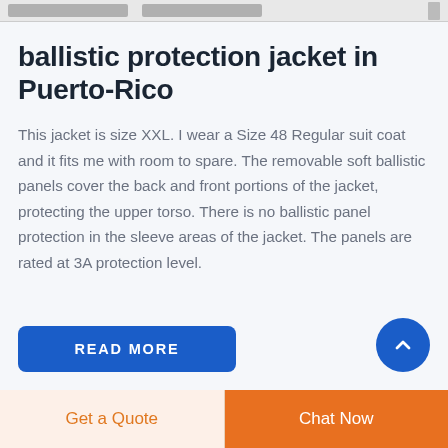[product image thumbnails]
ballistic protection jacket in Puerto-Rico
This jacket is size XXL. I wear a Size 48 Regular suit coat and it fits me with room to spare. The removable soft ballistic panels cover the back and front portions of the jacket, protecting the upper torso. There is no ballistic panel protection in the sleeve areas of the jacket. The panels are rated at 3A protection level.
READ MORE
Get a Quote
Chat Now